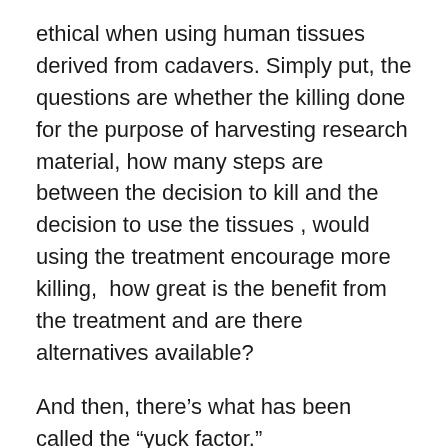ethical when using human tissues derived from cadavers. Simply put, the questions are whether the killing done for the purpose of harvesting research material, how many steps are between the decision to kill and the decision to use the tissues , would using the treatment encourage more killing,  how great is the benefit from the treatment and are there alternatives available?
And then, there's what has been called the “yuck factor.”
The current ethics community ignores most of these questions, having settled on a common theme of utilitarianism, or “the greatest good for the greatest number.”  Otherwise known as “might makes right:” because the powerful, the ones with the lawyers and the degrees decides what is “good.” And who to count or who not to count as human enough to have the right not to be